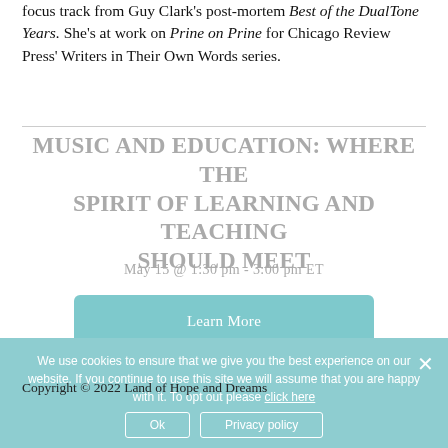focus track from Guy Clark's post-mortem Best of the DualTone Years. She's at work on Prine on Prine for Chicago Review Press' Writers in Their Own Words series.
MUSIC AND EDUCATION: WHERE THE SPIRIT OF LEARNING AND TEACHING SHOULD MEET
May 15 @ 1:30 pm - 3:00 pm ET
Learn More
We use cookies to ensure that we give you the best experience on our website. If you continue to use this site we will assume that you are happy with it. To opt out please click here
Copyright © 2022 Land of Hope and Dreams